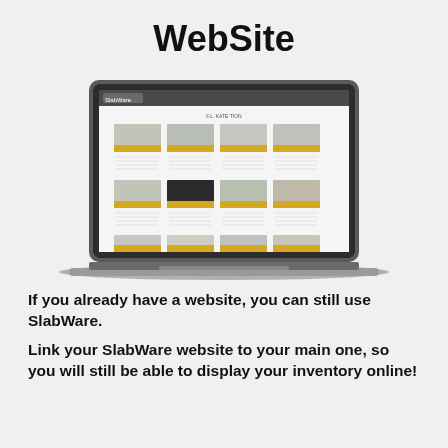WebSite
[Figure (screenshot): A laptop computer displaying a SlabWare website with a product catalog grid showing stone slab images arranged in rows with product details below each image.]
If you already have a website, you can still use SlabWare.
Link your SlabWare website to your main one, so you will still be able to display your inventory online!